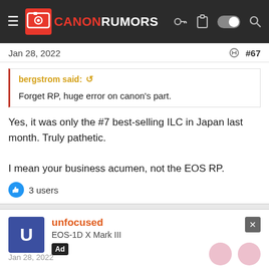CANON RUMORS
Jan 28, 2022  #67
bergstrom said: ↺

Forget RP, huge error on canon's part.
Yes, it was only the #7 best-selling ILC in Japan last month. Truly pathetic.

I mean your business acumen, not the EOS RP.
👍 3 users
unfocused
EOS-1D X Mark III
Ad
Jan 28, 2022